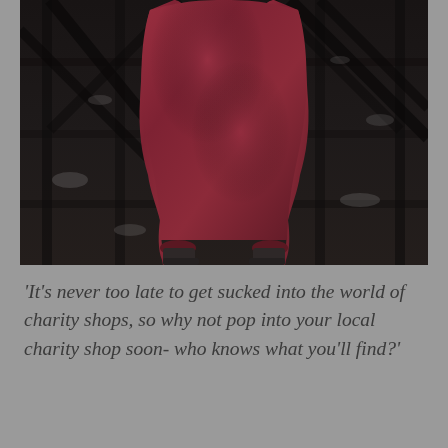[Figure (photo): A person wearing loose red patterned harem-style trousers and dark ankle boots, standing in front of a dark weathered metal gate or fence with diagonal cross bars and peeling paint.]
'It's never too late to get sucked into the world of charity shops, so why not pop into your local charity shop soon- who knows what you'll find?'